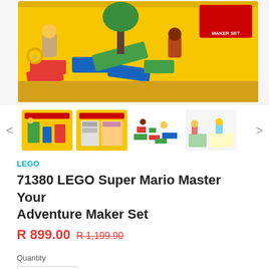[Figure (photo): LEGO Super Mario Master Your Adventure Maker Set product box - yellow box with colorful LEGO bricks and characters displayed]
[Figure (photo): Thumbnail 1: Front of LEGO Super Mario box with towers and characters]
[Figure (photo): Thumbnail 2: Back of LEGO box showing adventure layout]
[Figure (photo): Thumbnail 3: All LEGO pieces laid out flat]
[Figure (photo): Thumbnail 4: Built LEGO Mario characters in action scene]
LEGO
71380 LEGO Super Mario Master Your Adventure Maker Set
R 899.00  R 1,199.90
Quantity
1